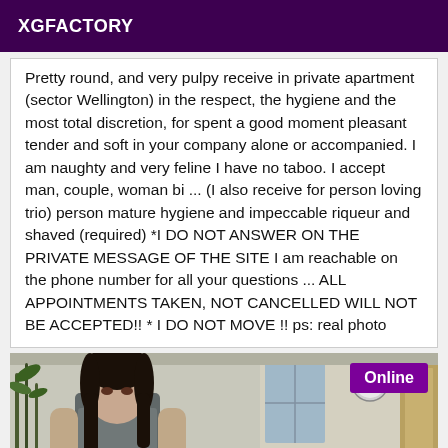XGFACTORY
...pretty round, and very pulpy receive in private apartment (sector Wellington) in the respect, the hygiene and the most total discretion, for spent a good moment pleasant tender and soft in your company alone or accompanied. I am naughty and very feline I have no taboo. I accept man, couple, woman bi ... (I also receive for person loving trio) person mature hygiene and impeccable riqueur and shaved (required) *I DO NOT ANSWER ON THE PRIVATE MESSAGE OF THE SITE I am reachable on the phone number for all your questions ... ALL APPOINTMENTS TAKEN, NOT CANCELLED WILL NOT BE ACCEPTED!! * I DO NOT MOVE !! ps: real photo
[Figure (photo): Photo of a woman in an indoor setting, with a plant on the left and a door/window visible in the background. An 'Online' badge is displayed in the top-right corner of the photo.]